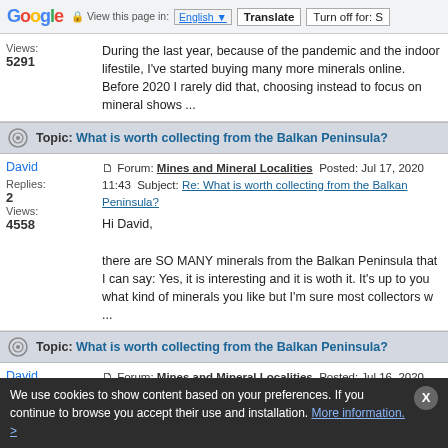Google — View this page in: English [▼] Translate | Turn off for: S
During the last year, because of the pandemic and the indoor lifestile, I've started buying many more minerals online. Before 2020 I rarely did that, choosing instead to focus on mineral shows ...
Topic: What is worth collecting from the Balkan Peninsula?
Forum: Mines and Mineral Localities  Posted: Jul 17, 2020 11:43  Subject: Re: What is worth collecting from the Balkan Peninsula?
Replies: 2 Views: 4558
Hi David,

there are SO MANY minerals from the Balkan Peninsula that I can say: Yes, it is interesting and it is woth it. It's up to you what kind of minerals you like but I'm sure most collectors w ...
Topic: What is worth collecting from the Balkan Peninsula?
Forum: Mines and Mineral Localities  Posted: Jul 16, 2020 13:00  Subject: What is worth collecting from the Balkan Peninsula?
Replies: 2 Views: 4558
Hello all!
We use cookies to show content based on your preferences. If you continue to browse you accept their use and installation. More information. >